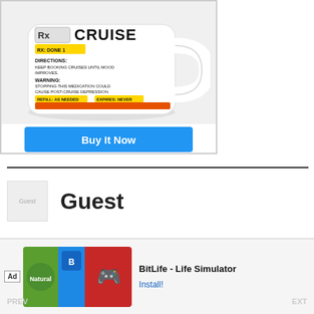[Figure (photo): A white ceramic mug styled as a prescription label for 'CRUISE'. The label shows: RX CRUISE, RX: DONE 1, DIRECTIONS: KEEP BOOKING CRUISES UNTIL MOOD IMPROVES. WARNING: STOPPING THIS MEDICATION COULD CAUSE POST-CRUISE DEPRESSION. REFILL: AS NEEDED | EXPIRES: NEVER. Below the mug image is a blue 'Buy It Now' button.]
Guest
[Figure (screenshot): Advertisement banner for BitLife - Life Simulator app with Ad badge, green/blue/red icon images, app name text and Install button.]